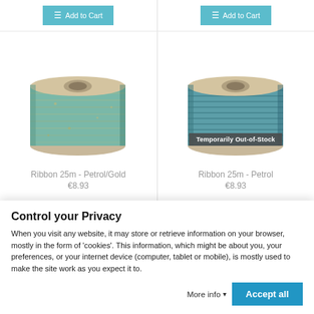[Figure (photo): Two product cards showing ribbon spools on a shopping website. Left card: a spool of Ribbon 25m Petrol/Gold (metallic green/teal with gold shimmer). Right card: a spool of Ribbon 25m Petrol (solid teal/petrol blue), with a 'Temporarily Out-of-Stock' badge overlaid.]
Ribbon 25m - Petrol/Gold
€8.93
Ribbon 25m - Petrol
€8.93
Control your Privacy
When you visit any website, it may store or retrieve information on your browser, mostly in the form of 'cookies'. This information, which might be about you, your preferences, or your internet device (computer, tablet or mobile), is mostly used to make the site work as you expect it to.
More info
Accept all